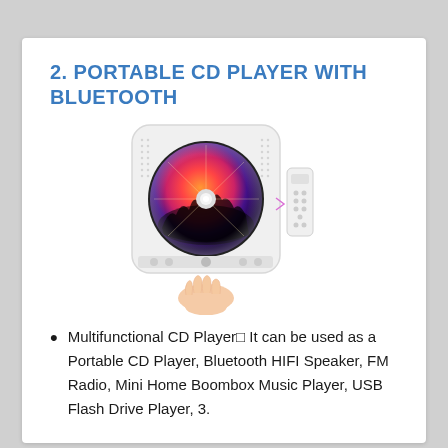2. PORTABLE CD PLAYER WITH BLUETOOTH
[Figure (photo): A wall-mountable portable CD player with a colorful CD (showing a concert image) inserted, a small white remote control, and a hand holding the player from below.]
Multifunctional CD Player□ It can be used as a Portable CD Player, Bluetooth HIFI Speaker, FM Radio, Mini Home Boombox Music Player, USB Flash Drive Player, 3.